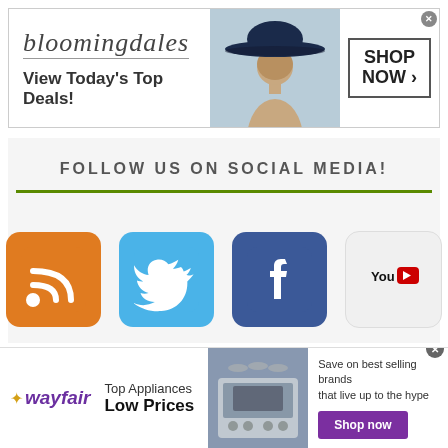[Figure (illustration): Bloomingdales advertisement banner with logo, 'View Today's Top Deals!' tagline, woman in hat, and 'SHOP NOW >' button]
FOLLOW US ON SOCIAL MEDIA!
[Figure (logo): RSS feed icon - orange rounded square with white RSS symbol]
[Figure (logo): Twitter icon - blue rounded square with white bird logo]
[Figure (logo): Facebook icon - dark blue rounded square with white lowercase f]
[Figure (logo): YouTube icon - light gray rounded square with YouTube logo in black and red]
[Figure (illustration): Wayfair advertisement banner with logo, 'Top Appliances Low Prices' text, appliance image, and 'Shop now' button. Text: Save on best selling brands that live up to the hype]